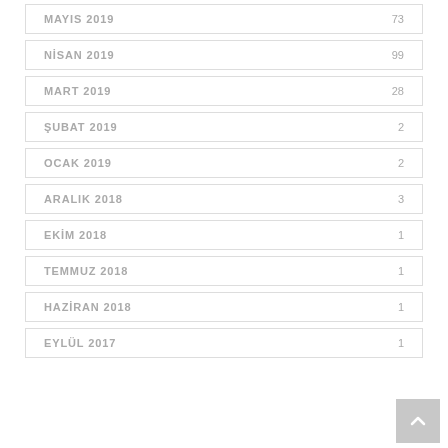MAYIS 2019  73
NİSAN 2019  99
MART 2019  28
ŞUBAT 2019  2
OCAK 2019  2
ARALIK 2018  3
EKİM 2018  1
TEMMUZ 2018  1
HAZİRAN 2018  1
EYLÜL 2017  1